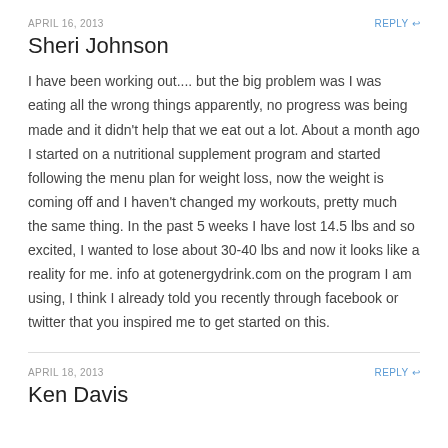APRIL 16, 2013
Sheri Johnson
I have been working out.... but the big problem was I was eating all the wrong things apparently, no progress was being made and it didn't help that we eat out a lot. About a month ago I started on a nutritional supplement program and started following the menu plan for weight loss, now the weight is coming off and I haven't changed my workouts, pretty much the same thing. In the past 5 weeks I have lost 14.5 lbs and so excited, I wanted to lose about 30-40 lbs and now it looks like a reality for me. info at gotenergydrink.com on the program I am using, I think I already told you recently through facebook or twitter that you inspired me to get started on this.
APRIL 18, 2013
Ken Davis